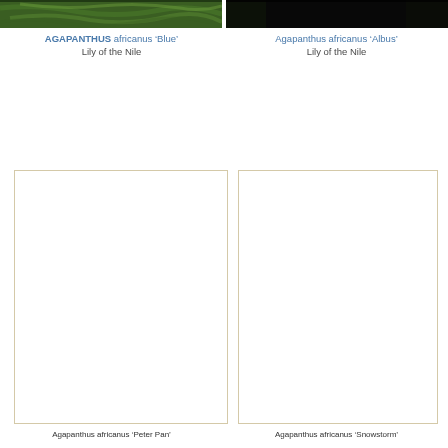[Figure (photo): Close-up photo of green Agapanthus africanus 'Blue' plant foliage against dark background]
AGAPANTHUS africanus 'Blue'
Lily of the Nile
[Figure (photo): Close-up photo of Agapanthus africanus 'Albus' plant against very dark/black background]
Agapanthus africanus 'Albus'
Lily of the Nile
[Figure (photo): Placeholder/blank photo box with beige border for next Agapanthus variety]
[Figure (photo): Placeholder/blank photo box with beige border for next Agapanthus variety]
Agapanthus africanus 'Peter Pan'
Agapanthus africanus 'Snowstorm'